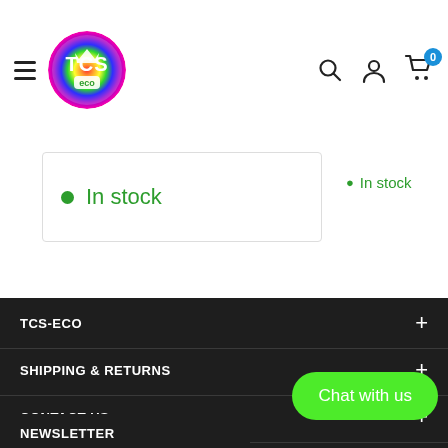TCS ECO - navigation header with logo, hamburger menu, search, account, and cart icons
In stock
In stock
TCS-ECO
SHIPPING & RETURNS
CONTACT US
Chat with us
NEWSLETTER